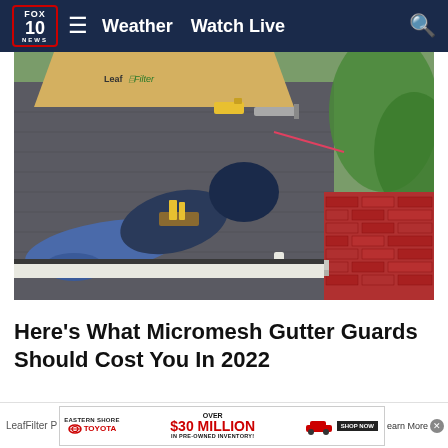FOX 10 NEWS  ≡  Weather  Watch Live
[Figure (photo): A worker in dark hoodie and jeans lying on a shingled roof, installing LeafFilter gutter guards. Tools visible on roof. Red brick chimney and green trees in background.]
Here's What Micromesh Gutter Guards Should Cost You In 2022
LeafFilter P...  Learn More
[Figure (infographic): Eastern Shore Toyota advertisement. Over $30 Million in Pre-Owned Inventory! Shop Now button.]